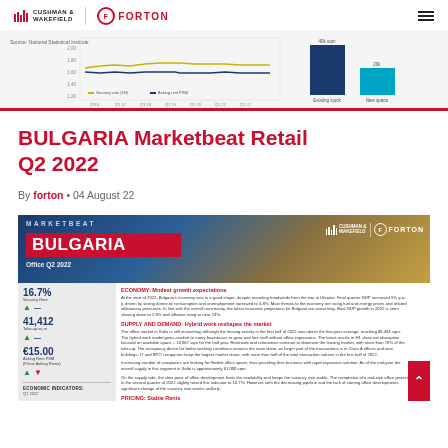Cushman & Wakefield | Forton
[Figure (other): Preview chart section showing line chart and bar chart snippets from a previous page]
BULGARIA Marketbeat Retail Q2 2022
By forton • 04 August 22
[Figure (other): Preview of the Bulgaria Marketbeat Office Q2 2022 report cover and content, showing KPIs (16.7% vacancy rate, 41,412 sq m take-up, €15.00 asking rent PSM), economic indicators (5.0% Bulgaria GDP Growth, 4.9% Bulgaria Accommodation), and sections on Economy: Modest growth expectations, Supply and Demand: Hybrid work reshapes the market, and Pricing: Stable Rents]